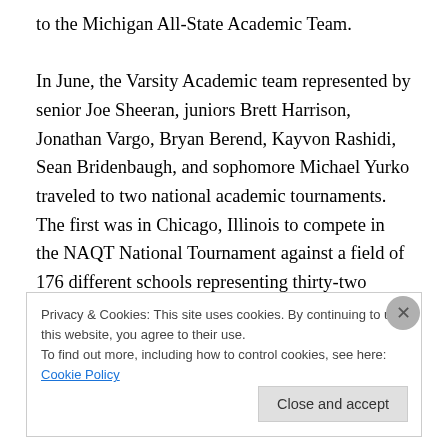to the Michigan All-State Academic Team.

In June, the Varsity Academic team represented by senior Joe Sheeran, juniors Brett Harrison, Jonathan Vargo, Bryan Berend, Kayvon Rashidi, Sean Bridenbaugh, and sophomore Michael Yurko traveled to two national academic tournaments.  The first was in Chicago, Illinois to compete in the NAQT National Tournament against a field of 176 different schools representing thirty-two states.  Teams competing in this invitation-only tournament had distinguished themselves as the best teams from across
Privacy & Cookies: This site uses cookies. By continuing to use this website, you agree to their use.
To find out more, including how to control cookies, see here: Cookie Policy